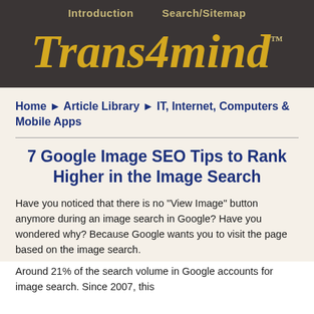Introduction   Search/Sitemap
Trans4mind™
Home ► Article Library ► IT, Internet, Computers & Mobile Apps
7 Google Image SEO Tips to Rank Higher in the Image Search
Have you noticed that there is no "View Image" button anymore during an image search in Google? Have you wondered why? Because Google wants you to visit the page based on the image search.
Around 21% of the search volume in Google accounts for image search. Since 2007, this